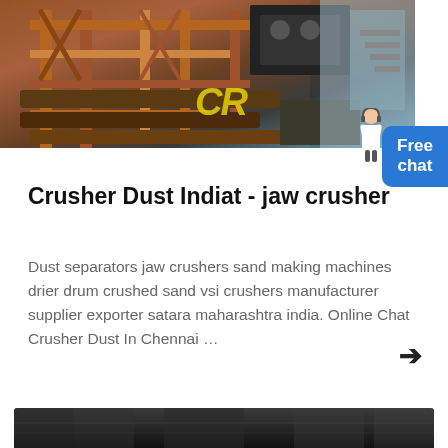[Figure (photo): Industrial heavy machinery — crusher/sand making machine with orange metal framework structures, conveyor belts, motors in an outdoor factory setting. Yellow 'CR' watermark visible.]
Crusher Dust Indiat - jaw crusher
Dust separators jaw crushers sand making machines drier drum crushed sand vsi crushers manufacturer supplier exporter satara maharashtra india. Online Chat Crusher Dust In Chennai …
[Figure (photo): Partial view of dark industrial machinery at the bottom of the page.]